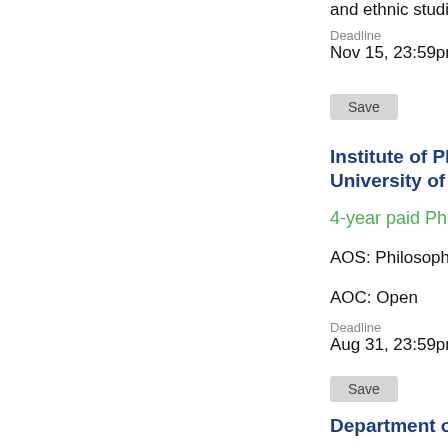and ethnic studies
Deadline
Nov 15, 23:59pm EST
Save
Institute of Ph... University of L...
4-year paid PhD P...
AOS: Philosophy o...
AOC: Open
Deadline
Aug 31, 23:59pm CET
Save
Department o...
Tenure-Track Pro...
AOS: History of Sc...
AOC: Open
Deadline
Oct 1, 23:59... EST